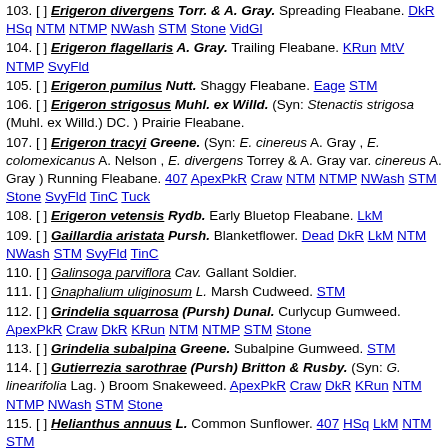103. [ ] Erigeron divergens Torr. & A. Gray. Spreading Fleabane. DkR HSq NTM NTMP NWash STM Stone VidGl
104. [ ] Erigeron flagellaris A. Gray. Trailing Fleabane. KRun MtV NTMP SvyFld
105. [ ] Erigeron pumilus Nutt. Shaggy Fleabane. Eage STM
106. [ ] Erigeron strigosus Muhl. ex Willd. (Syn: Stenactis strigosa (Muhl. ex Willd.) DC. ) Prairie Fleabane.
107. [ ] Erigeron tracyi Greene. (Syn: E. cinereus A. Gray , E. colomexicanus A. Nelson , E. divergens Torrey & A. Gray var. cinereus A. Gray ) Running Fleabane. 407 ApexPkR Craw NTM NTMP NWash STM Stone SvyFld TinC Tuck
108. [ ] Erigeron vetensis Rydb. Early Bluetop Fleabane. LkM
109. [ ] Gaillardia aristata Pursh. Blanketflower. Dead DkR LkM NTM NWash STM SvyFld TinC
110. [ ] Galinsoga parviflora Cav. Gallant Soldier.
111. [ ] Gnaphalium uliginosum L. Marsh Cudweed. STM
112. [ ] Grindelia squarrosa (Pursh) Dunal. Curlycup Gumweed. ApexPkR Craw DkR KRun NTM NTMP STM Stone
113. [ ] Grindelia subalpina Greene. Subalpine Gumweed. STM
114. [ ] Gutierrezia sarothrae (Pursh) Britton & Rusby. (Syn: G. linearifolia Lag. ) Broom Snakeweed. ApexPkR Craw DkR KRun NTM NTMP NWash STM Stone
115. [ ] Helianthus annuus L. Common Sunflower. 407 HSq LkM NTM STM
116. [ ] Helianthus nuttallii Torr. & A. Gray. Nuttall's Sunflower.